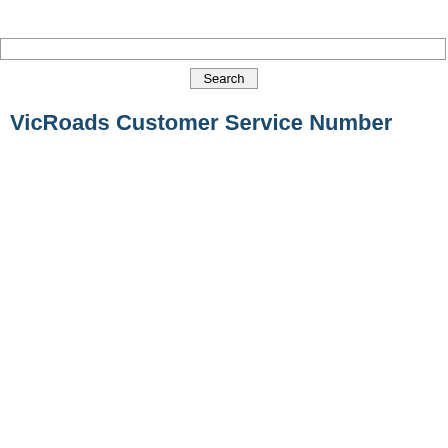[Figure (screenshot): Search input bar spanning full page width with a Search button below it centered]
VicRoads Customer Service Number